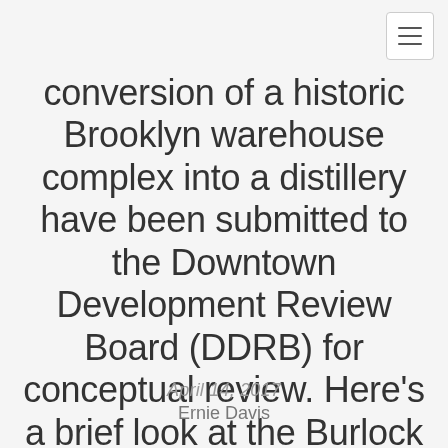[hamburger menu button]
conversion of a historic Brooklyn warehouse complex into a distillery have been submitted to the Downtown Development Review Board (DDRB) for conceptual review. Here's a brief look at the Burlock and Barrel project proposed for the intersection of Forest and Magnolia Streets.
April 14, 2017
Ernie Davis